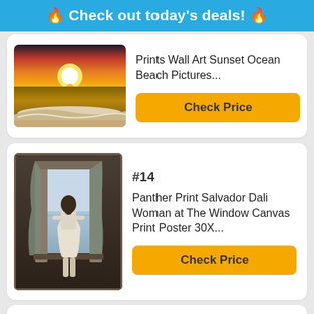🔥 Check out today's deals! 🔥
[Figure (photo): Sunset ocean beach photo showing waves on a sandy beach with golden sunset sky]
Prints Wall Art Sunset Ocean Beach Pictures...
Check Price
#14
[Figure (photo): Salvador Dali painting - Woman at The Window showing a woman in white dress standing at an open window overlooking water]
Panther Print Salvador Dali Woman at The Window Canvas Print Poster 30X...
Check Price
#15